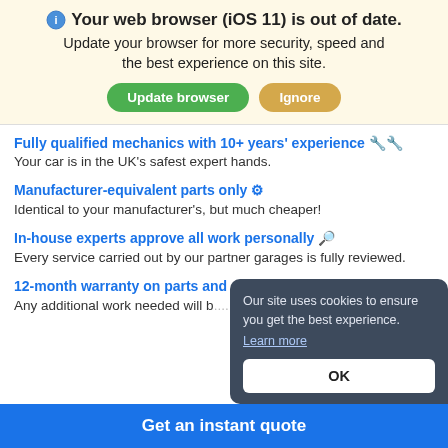Your web browser (iOS 11) is out of date.
Update your browser for more security, speed and the best experience on this site.
Update browser   Ignore
Fully qualified mechanics with 10+ years' experience
Your car is in the UK's safest expert hands.
Manufacturer-equivalent parts only
Identical to your manufacturer's, but much cheaper!
In-house experts approve all work personally
Every service carried out by our partner garages is fully reviewed.
12-month warranty on parts and
Any additional work needed will b...or for free.
Our site uses cookies to ensure you get the best experience. Learn more
OK
Get an instant quote